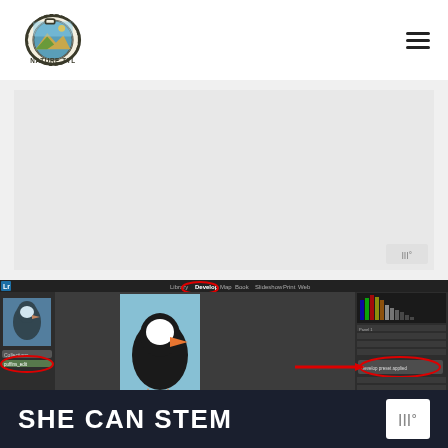[Figure (logo): Nature TTL logo — camera icon with mountain landscape inside lens, 'NATURE TTL' text below]
[Figure (other): Hamburger menu icon (three horizontal lines) top right]
[Figure (screenshot): Adobe Lightroom Classic screenshot showing puffin photos, with red circles highlighting menu items and a red arrow pointing to develop module settings panel on the right]
SHE CAN STEM
[Figure (logo): Mediavine logo bottom right]